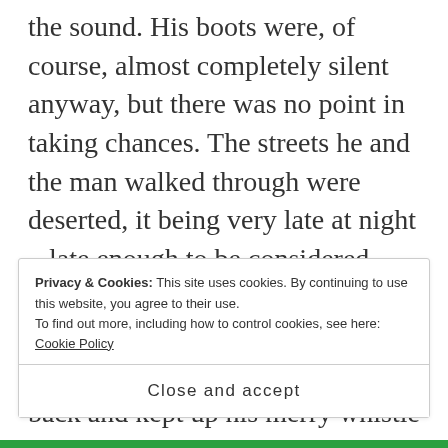the sound. His boots were, of course, almost completely silent anyway, but there was no point in taking chances. The streets he and the man walked through were deserted, it being very late at night – late enough to be considered very early in the morning. They walked down one street and then another. The man never looked back and kept up his merry whistle and his brisk stride. After about ten minutes, the man walked up to a fancy skyscraper, obviously housing luxury apartments, and began to push the buttons on the coded lock to the front door.
Privacy & Cookies: This site uses cookies. By continuing to use this website, you agree to their use. To find out more, including how to control cookies, see here: Cookie Policy
Close and accept